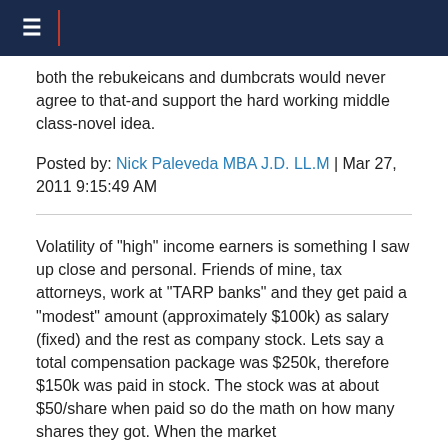both the rebukeicans and dumbcrats would never agree to that-and support the hard working middle class-novel idea.
Posted by: Nick Paleveda MBA J.D. LL.M | Mar 27, 2011 9:15:49 AM
Volatility of "high" income earners is something I saw up close and personal. Friends of mine, tax attorneys, work at "TARP banks" and they get paid a "modest" amount (approximately $100k) as salary (fixed) and the rest as company stock. Lets say a total compensation package was $250k, therefore $150k was paid in stock. The stock was at about $50/share when paid so do the math on how many shares they got. When the market